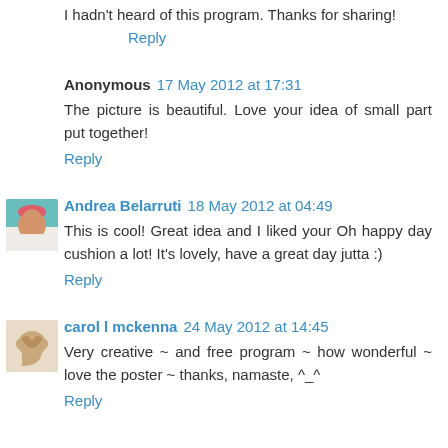I hadn't heard of this program. Thanks for sharing!
Reply
Anonymous 17 May 2012 at 17:31
The picture is beautiful. Love your idea of small part put together!
Reply
Andrea Belarruti 18 May 2012 at 04:49
This is cool! Great idea and I liked your Oh happy day cushion a lot! It's lovely, have a great day jutta :)
Reply
carol l mckenna 24 May 2012 at 14:45
Very creative ~ and free program ~ how wonderful ~ love the poster ~ thanks, namaste, ^_^
Reply